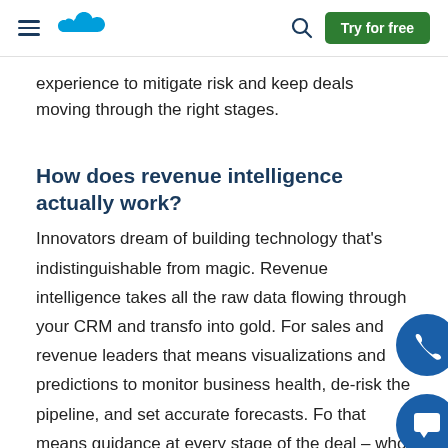Salesforce navigation bar with hamburger menu, cloud logo, search icon, and Try for free button
experience to mitigate risk and keep deals moving through the right stages.
How does revenue intelligence actually work?
Innovators dream of building technology that's indistinguishable from magic. Revenue intelligence takes all the raw data flowing through your CRM and transfo into gold. For sales and revenue leaders that means visualizations and predictions to monitor business health, de-risk the pipeline, and set accurate forecasts. Fo that means guidance at every stage of the deal – who to